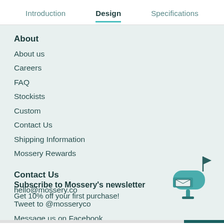Introduction | Design | Specifications
About
About us
Careers
FAQ
Stockists
Custom
Contact Us
Shipping Information
Mossery Rewards
Contact Us
hello@mossery.co
Tweet to @mosseryco
Message us on Facebook
Subscribe to Mossery's newsletter
Get 10% off your first purchase!
[Figure (illustration): Teal mailbox illustration with envelope and flag]